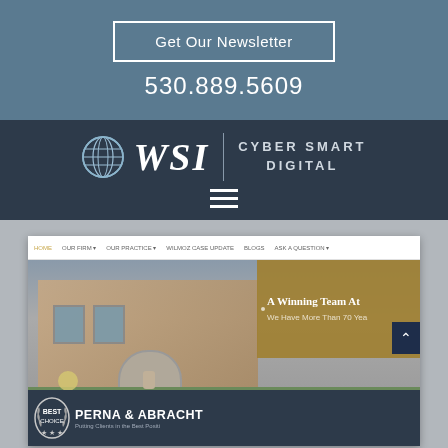Get Our Newsletter
530.889.5609
[Figure (logo): WSI Cyber Smart Digital logo with globe icon]
[Figure (screenshot): Screenshot of a law firm website (Perna & Abracht) with navigation bar, hero image of a building, gold overlay with 'A Winning Team At' and 'We Have More Than 70 Yea', Best Choice badge, and dark footer bar with firm name]